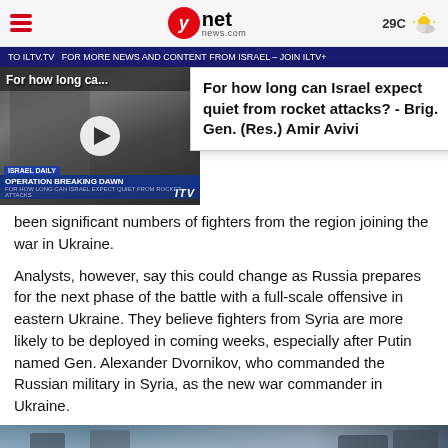ynet news.com | 29C
TO ILTV.TV  FOR MORE NEWS AND CONTENT FROM ISRAEL – JOIN ILTV+
[Figure (screenshot): Video thumbnail showing news segment 'For how long ca...' with OPERATION BREAKING DAWN chyron, ITV logo, play button overlay]
For how long can Israel expect quiet from rocket attacks? - Brig. Gen. (Res.) Amir Avivi
been significant numbers of fighters from the region joining the war in Ukraine.
Analysts, however, say this could change as Russia prepares for the next phase of the battle with a full-scale offensive in eastern Ukraine. They believe fighters from Syria are more likely to be deployed in coming weeks, especially after Putin named Gen. Alexander Dvornikov, who commanded the Russian military in Syria, as the new war commander in Ukraine.
[Figure (photo): Photo showing officials in military/civilian attire outdoors near vehicles]
[Figure (other): Advertisement banner: Blender, yellow button with Hebrew text, Hebrew ad copy for Dynaham brand]